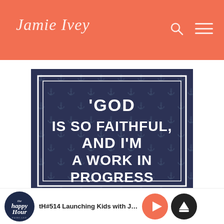Jamie Ivey
[Figure (illustration): Dark navy background with anchor pattern. White bordered frame contains bold white text: 'GOD IS SO FAITHFUL, AND I'M A WORK IN PROGRESS']
[Figure (logo): The Happy Hour podcast logo — circular navy badge with script text]
tH#514 Launching Kids with Jamie I
[Figure (other): Play button (salmon/coral circle with triangle) and up-arrow button (dark circle)]